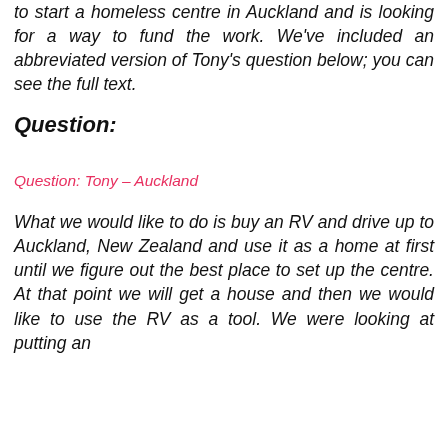to start a homeless centre in Auckland and is looking for a way to fund the work. We've included an abbreviated version of Tony's question below; you can see the full text.
Question:
Question: Tony – Auckland
What we would like to do is buy an RV and drive up to Auckland, New Zealand and use it as a home at first until we figure out the best place to set up the centre. At that point we will get a house and then we would like to use the RV as a tool. We were looking at putting an